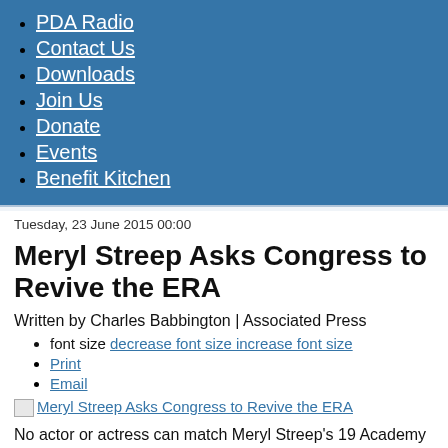PDA Radio
Contact Us
Downloads
Join Us
Donate
Events
Benefit Kitchen
Tuesday, 23 June 2015 00:00
Meryl Streep Asks Congress to Revive the ERA
Written by Charles Babbington | Associated Press
font size decrease font size increase font size
Print
Email
[Figure (other): Broken image link: Meryl Streep Asks Congress to Revive the ERA]
No actor or actress can match Meryl Streep's 19 Academy Award nominations, and only Katharine Hepburn has bested her three Oscars for acting. So maybe it's conceivable that Streep's letter